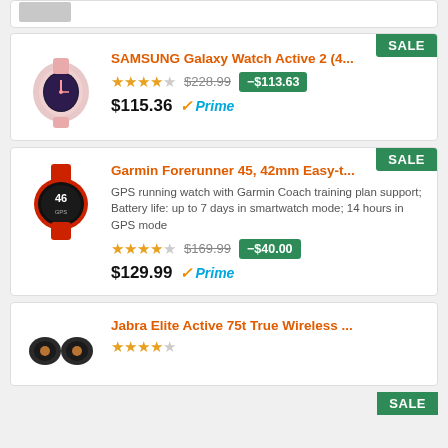[Figure (photo): Partial view of a product image at top of page (cropped)]
SAMSUNG Galaxy Watch Active 2 (4...
Stars: 4/5, Original price: $228.99, Discount: -$113.63, Sale price: $115.36, Prime
Garmin Forerunner 45, 42mm Easy-t...
GPS running watch with Garmin Coach training plan support; Battery life: up to 7 days in smartwatch mode; 14 hours in GPS mode
Stars: 4.5/5, Original price: $169.99, Discount: -$40.00, Sale price: $129.99, Prime
Jabra Elite Active 75t True Wireless ...
Stars: 4/5